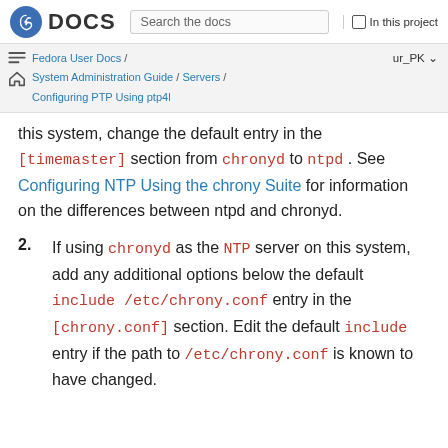Fedora DOCS — Search the docs — In this project
Fedora User Docs / System Administration Guide / Servers / Configuring PTP Using ptp4l — ur_PK
this system, change the default entry in the [timemaster] section from chronyd to ntpd . See Configuring NTP Using the chrony Suite for information on the differences between ntpd and chronyd.
2. If using chronyd as the NTP server on this system, add any additional options below the default include /etc/chrony.conf entry in the [chrony.conf] section. Edit the default include entry if the path to /etc/chrony.conf is known to have changed.